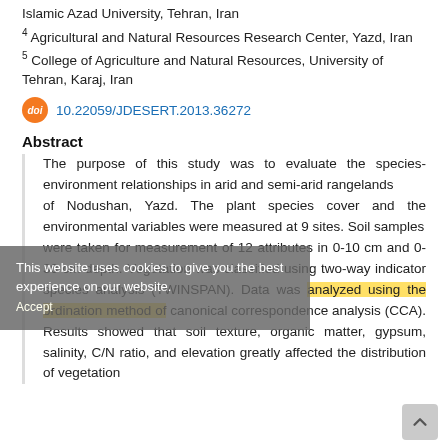Islamic Azad University, Tehran, Iran
4 Agricultural and Natural Resources Research Center, Yazd, Iran
5 College of Agriculture and Natural Resources, University of Tehran, Karaj, Iran
doi 10.22059/JDESERT.2013.36272
Abstract
The purpose of this study was to evaluate the species-environment relationships in arid and semi-arid rangelands of Nodushan, Yazd. The plant species cover and the environmental variables were measured at 9 sites. Soil samples were taken for measurement of 12 attributes in 0-10 cm and 0-30 cm depth. Vegetation was classified using two-way indicator species analysis (TWINSPAN). Data was analyzed using the ordination method of canonical correspondence analysis (CCA). Results showed that soil texture, organic matter, gypsum, salinity, C/N ratio, and elevation greatly affected the distribution of vegetation
This website uses cookies to give you the best experience on our website.
Accept